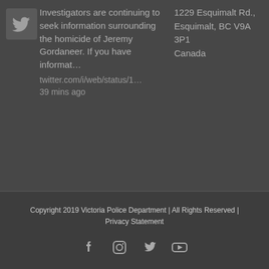Investigators are continuing to seek information surrounding the homicide of Jeremy Gordaneer. If you have informat…
twitter.com/i/web/status/1…
39 mins ago
1229 Esquimalt Rd., Esquimalt, BC V9A 3P1 Canada
Copyright 2019 Victoria Police Department | All Rights Reserved | Privacy Statement
[Figure (infographic): Social media icons: Facebook, Instagram, Twitter, YouTube]